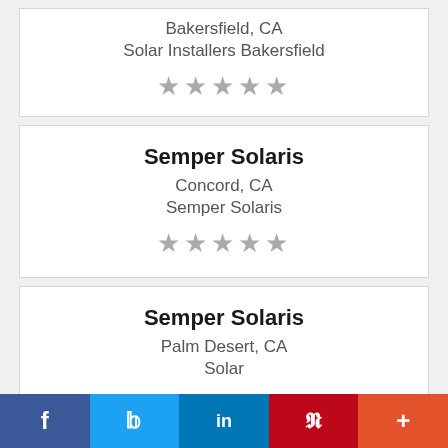Bakersfield, CA
Solar Installers Bakersfield
[Figure (other): 5 gray star rating icons]
Semper Solaris
Concord, CA
Semper Solaris
[Figure (other): 5 gray star rating icons]
Semper Solaris
Palm Desert, CA
Solar
[Figure (other): 5 gray star rating icons]
f  Twitter  in  P  +